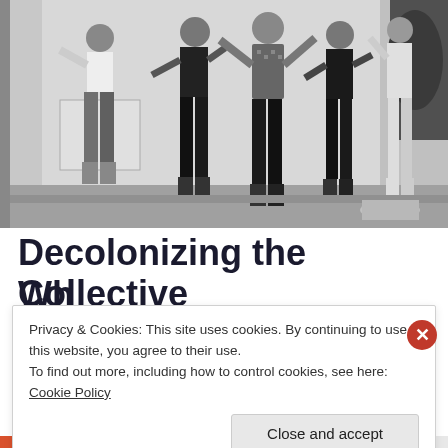[Figure (photo): Black and white photograph of several people posing or dancing on a stage or outdoor platform. Four to five figures are visible in casual and patterned clothing, with arms raised and dynamic poses.]
Decolonizing the Collective
Wh...
Privacy & Cookies: This site uses cookies. By continuing to use this website, you agree to their use.
To find out more, including how to control cookies, see here: Cookie Policy
Close and accept